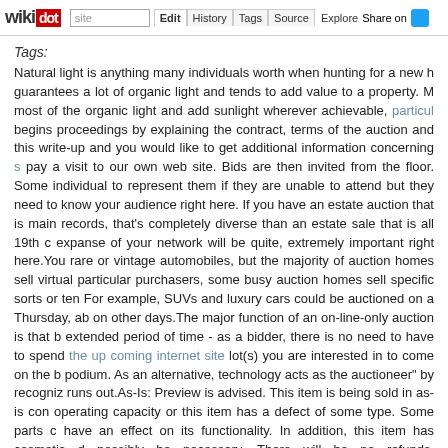wikidot | site | Edit | History | Tags | Source | Explore | Share on Twitter
Tags:
Natural light is anything many individuals worth when hunting for a new h... guarantees a lot of organic light and tends to add value to a property. M... most of the organic light and add sunlight wherever achievable, particularly... begins proceedings by explaining the contract, terms of the auction and... this write-up and you would like to get additional information concerning s... pay a visit to our own web site. Bids are then invited from the floor. Some... individual to represent them if they are unable to attend but they need to... know your audience right here. If you have an estate auction that is main... records, that's completely diverse than an estate sale that is all 19th c... expanse of your network will be quite, extremely important right here.You... rare or vintage automobiles, but the majority of auction homes sell virtuall... particular purchasers, some busy auction homes sell specific sorts or ten... For example, SUVs and luxury cars could be auctioned on a Thursday, ab... on other days.The major function of an on-line-only auction is that b... extended period of time - as a bidder, there is no need to have to spend... the up coming internet site lot(s) you are interested in to come on the b... podium. As an alternative, technology acts as the auctioneer" by recogniza... runs out.As-Is: Preview is advised. This item is being sold in as-is con... operating capacity or this item has a defect of some type. Some parts c... have an effect on its functionality. In addition, this item has cosmetic d... possibly be necessary. There will be no refunds, chargebacks, or credit i... happening everywhere, and it really is taking place typically: Properly-int... to locate themselves unable to make payments due to the fact of hardshi... value plummets far beneath the obtain value. Seeking the element cre... back it up by guaranteeing everybody notices you. No, you should not s... so, the way you carry oneself all through the auction guarantees other...